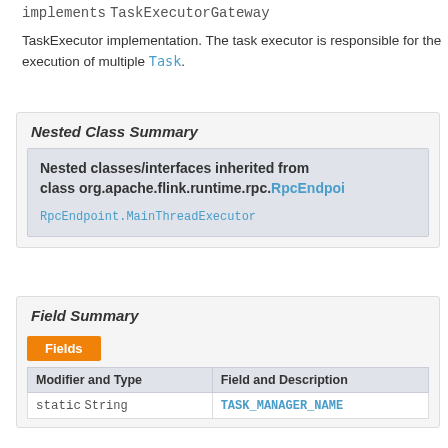implements TaskExecutorGateway
TaskExecutor implementation. The task executor is responsible for the execution of multiple Task.
Nested Class Summary
| Nested classes/interfaces inherited from class org.apache.flink.runtime.rpc.RpcEndpoi... |
| RpcEndpoint.MainThreadExecutor |
Field Summary
| Modifier and Type | Field and Description |
| --- | --- |
| static String | TASK_MANAGER_NAME |